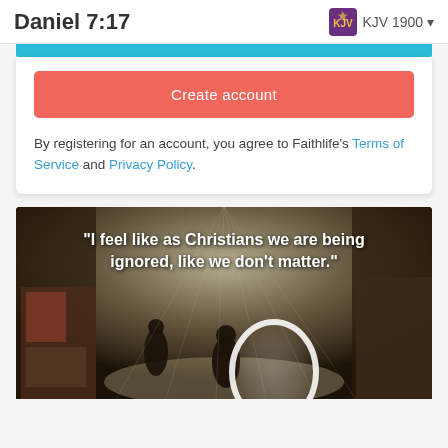Daniel 7:17
KJV 1900
Create account
By registering for an account, you agree to Faithlife's Terms of Service and Privacy Policy.
[Figure (photo): A photo of a Middle Eastern market (bazaar/souk) with people walking through a covered alley with light streaming through the roof. A white circular glowing element is overlaid on the lower center. White bold text overlaid reads: "I feel like as Christians we are being ignored, like we don't matter."]